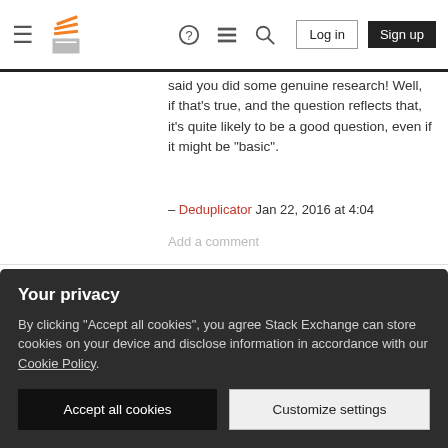Stack Overflow navigation header with Log in and Sign up buttons
said you did some genuine research! Well, if that's true, and the question reflects that, it's quite likely to be a good question, even if it might be "basic".
– Deduplicator Jan 22, 2016 at 4:04
Add a comment
I would suggest the point of SO is to ask and answer questions, not to offer life/career advice. Ignore (or down-vote, or flag) questions that suck, don't get sucked in when you offer an answer and the OP clearly doesn't understand because they just
Your privacy
By clicking "Accept all cookies", you agree Stack Exchange can store cookies on your device and disclose information in accordance with our Cookie Policy.